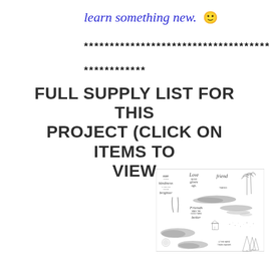learn something new. 🙂
************************************
************
FULL SUPPLY LIST FOR THIS PROJECT (CLICK ON ITEMS TO VIEW
[Figure (illustration): A stamp set product image showing various rubber stamps with text phrases like 'Every little kindness makes the world brighter', 'Love never gives up', 'Friend', 'Thanks', 'Friends make the good times better', '& the hard times easier', along with nature-themed stamp images including mountains, clouds, trees, a beach hut, and a sun.]